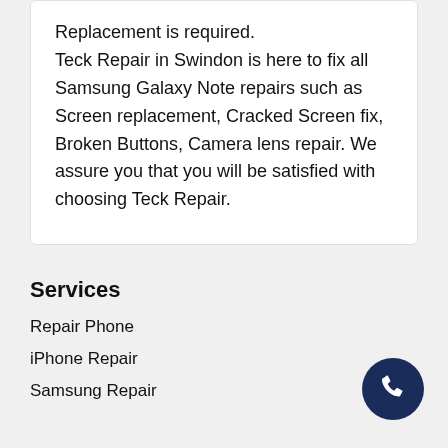Replacement is required. Teck Repair in Swindon is here to fix all Samsung Galaxy Note repairs such as Screen replacement, Cracked Screen fix, Broken Buttons, Camera lens repair. We assure you that you will be satisfied with choosing Teck Repair.
Services
Repair Phone
iPhone Repair
Samsung Repair